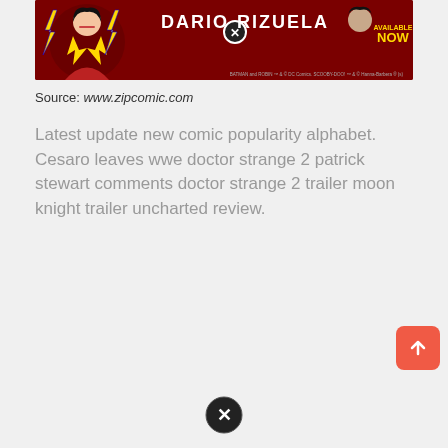[Figure (illustration): Comic book advertisement banner on dark red background featuring stylized characters, 'DARIO RIZUELA' text in white/yellow, a close button (X circle), and 'AVAILABLE NOW' text in yellow on the right side. Fine print at the bottom right.]
Source: www.zipcomic.com
Latest update new comic popularity alphabet. Cesaro leaves wwe doctor strange 2 patrick stewart comments doctor strange 2 trailer moon knight trailer uncharted review.